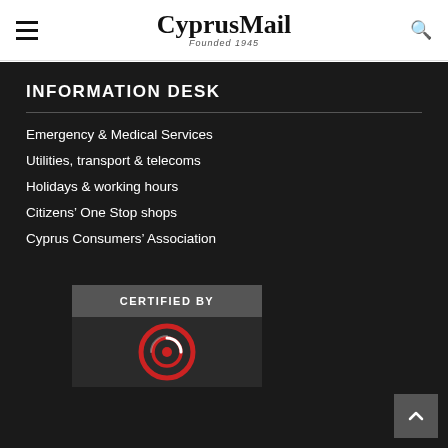CyprusMail Founded 1945
INFORMATION DESK
Emergency & Medical Services
Utilities, transport & telecoms
Holidays & working hours
Citizens’ One Stop shops
Cyprus Consumers’ Association
[Figure (logo): CERTIFIED BY badge with a circular red and white icon logo below it]